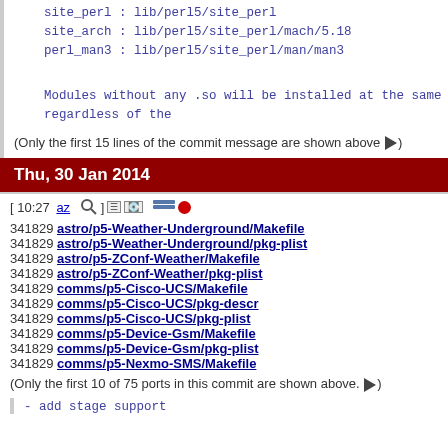site_perl : lib/perl5/site_perl
    site_arch : lib/perl5/site_perl/mach/5.18
    perl_man3 : lib/perl5/site_perl/man/man3
Modules without any .so will be installed at the same p
    regardless of the
(Only the first 15 lines of the commit message are shown above ►)
Thu, 30 Jan 2014
[ 10:27 az 🔍 ] [keyboard] [icons]
341829 astro/p5-Weather-Underground/Makefile
341829 astro/p5-Weather-Underground/pkg-plist
341829 astro/p5-ZConf-Weather/Makefile
341829 astro/p5-ZConf-Weather/pkg-plist
341829 comms/p5-Cisco-UCS/Makefile
341829 comms/p5-Cisco-UCS/pkg-descr
341829 comms/p5-Cisco-UCS/pkg-plist
341829 comms/p5-Device-Gsm/Makefile
341829 comms/p5-Device-Gsm/pkg-plist
341829 comms/p5-Nexmo-SMS/Makefile
(Only the first 10 of 75 ports in this commit are shown above. ►)
- add stage support